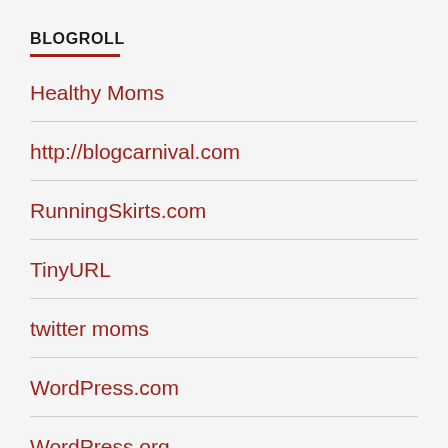BLOGROLL
Healthy Moms
http://blogcarnival.com
RunningSkirts.com
TinyURL
twitter moms
WordPress.com
WordPress.org